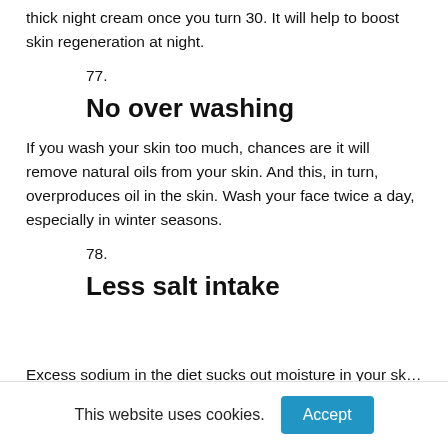thick night cream once you turn 30. It will help to boost skin regeneration at night.
77.
No over washing
If you wash your skin too much, chances are it will remove natural oils from your skin. And this, in turn, overproduces oil in the skin. Wash your face twice a day, especially in winter seasons.
78.
Less salt intake
Excess sodium in the diet sucks out moisture in your skin…
This website uses cookies.